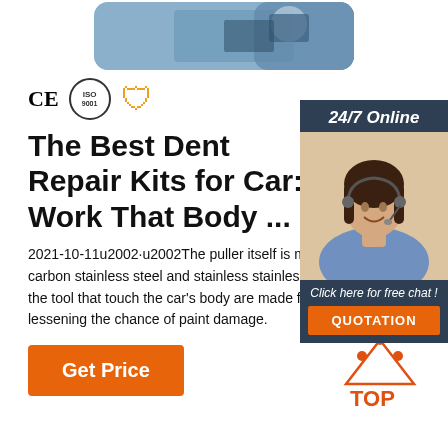[Figure (photo): Top banner image showing a person working at a computer/desk, with a rounded rectangle frame, blue-gray gradient background]
[Figure (infographic): CE certification mark, ISO 9001 certification circle logo, and orange dollar shield icon for certifications]
[Figure (photo): Sidebar with '24/7 Online' header, photo of smiling woman with headset, 'Click here for free chat!' text, and orange QUOTATION button]
The Best Dent Repair Kits for Car: Work That Body ...
2021-10-11u2002·u2002The puller itself is made of tempered high-carbon stainless steel and stainless steel, while the parts of the tool that touch the car's body are made from high-quality rubber, lessening the chance of paint damage.
[Figure (logo): Orange TOP arrow/triangle logo with dots above it]
Get Price